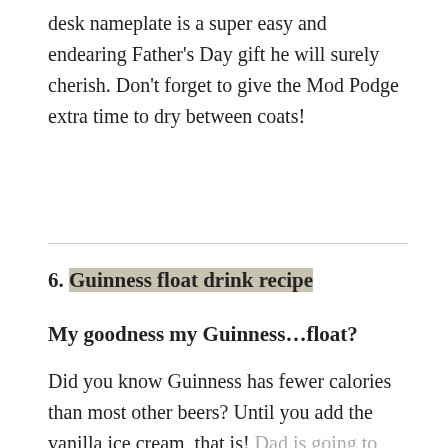desk nameplate is a super easy and endearing Father's Day gift he will surely cherish. Don't forget to give the Mod Podge extra time to dry between coats!
6. Guinness float drink recipe
My goodness my Guinness…float?
Did you know Guinness has fewer calories than most other beers? Until you add the vanilla ice cream, that is! Dad is going to love this adult alternative to his childhood favorite–and you will too!